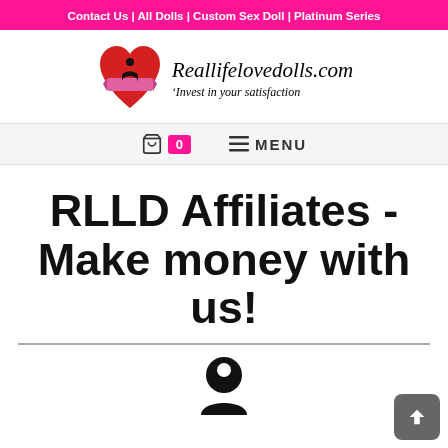Contact Us | All Dolls | Custom Sex Doll | Platinum Series
[Figure (logo): Reallifelovedolls.com logo with red heart and silhouette, tagline: Invest in your satisfaction]
Cart 0 | MENU
RLLD Affiliates - Make money with us!
[Figure (illustration): Partial circular affiliate/person icon at bottom center]